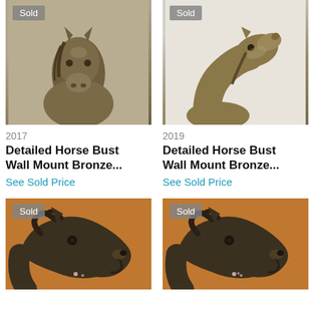[Figure (photo): Bronze horse bust wall mount sculpture facing forward, shown against light background. 'Sold' badge in upper left corner.]
2017
Detailed Horse Bust Wall Mount Bronze...
See Sold Price
[Figure (photo): Bronze horse bust wall mount sculpture facing right/upward, shown against white background. 'Sold' badge in upper left corner.]
2019
Detailed Horse Bust Wall Mount Bronze...
See Sold Price
[Figure (photo): Close-up of bronze horse head sculpture with open mouth, shown against wood/orange background. 'Sold' badge in upper left corner.]
[Figure (photo): Close-up of bronze horse head sculpture with open mouth, shown against wood/orange background. 'Sold' badge in upper left corner.]